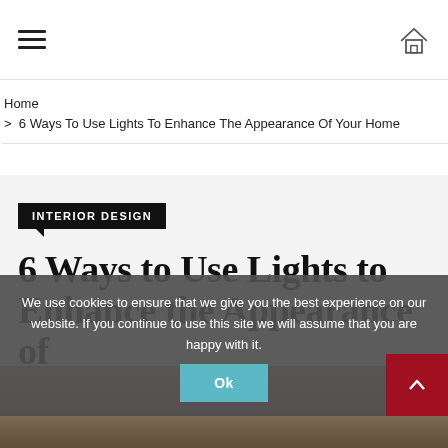Navigation bar with hamburger menu and home icon
Home > 6 Ways To Use Lights To Enhance The Appearance Of Your Home
INTERIOR DESIGN
6 Ways to Use Lights to Enhance the Appearance of Your Home
[Figure (photo): Partial photo of drinks and food items at the bottom of the page]
We use cookies to ensure that we give you the best experience on our website. If you continue to use this site we will assume that you are happy with it.
Ok